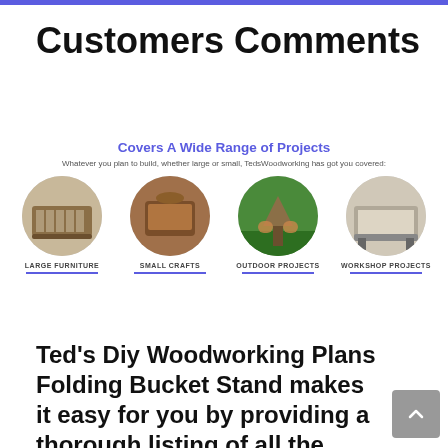Customers Comments
[Figure (infographic): Four circular images showing woodworking project categories: Large Furniture, Small Crafts, Outdoor Projects, Workshop Projects, under the heading 'Covers A Wide Range of Projects']
Ted's Diy Woodworking Plans Folding Bucket Stand makes it easy for you by providing a thorough listing of all the